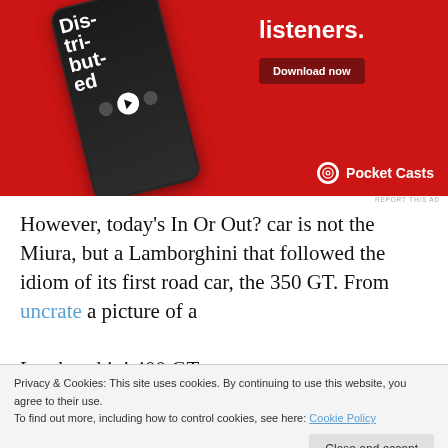[Figure (illustration): Pocket Casts advertisement on red background featuring a smartphone showing the 'Distributed' podcast, with text 'listeners.' and a 'Download now' button, and the Pocket Casts logo at bottom right.]
REPORT THIS AD
However, today’s In Or Out? car is not the Miura, but a Lamborghini that followed the idiom of its first road car, the 350 GT. From uncrate a picture of a
Lamborghini 400 GT...
Privacy & Cookies: This site uses cookies. By continuing to use this website, you agree to their use.
To find out more, including how to control cookies, see here: Cookie Policy
Close and accept